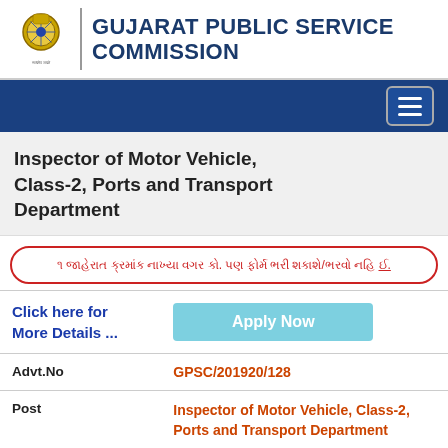GUJARAT PUBLIC SERVICE COMMISSION
Inspector of Motor Vehicle, Class-2, Ports and Transport Department
Gujarati notice text in red border box
| Field | Value |
| --- | --- |
| Click here for More Details ... | Apply Now |
| Advt.No | GPSC/201920/128 |
| Post | Inspector of Motor Vehicle, Class-2, Ports and Transport Department |
| Class | Class-2 |
| Department | PORTS and TRANSPORT DEPARTMENT |